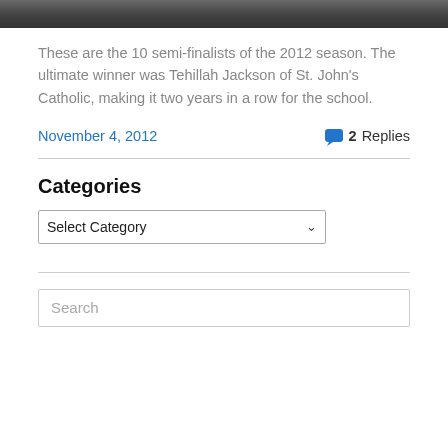[Figure (photo): Strip of a group photo showing people, likely semi-finalists of the 2012 season, cropped at the top of the page.]
These are the 10 semi-finalists of the 2012 season. The ultimate winner was Tehillah Jackson of St. John's Catholic, making it two years in a row for the school.
November 4, 2012
2 Replies
Categories
Select Category
Search